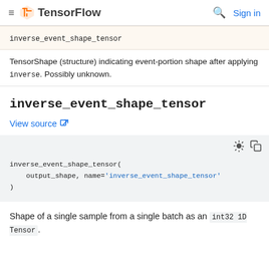TensorFlow | Sign in
| inverse_event_shape_tensor |
| --- |
TensorShape (structure) indicating event-portion shape after applying inverse. Possibly unknown.
inverse_event_shape_tensor
View source
inverse_event_shape_tensor(
    output_shape, name='inverse_event_shape_tensor'
)
Shape of a single sample from a single batch as an int32 1D Tensor.